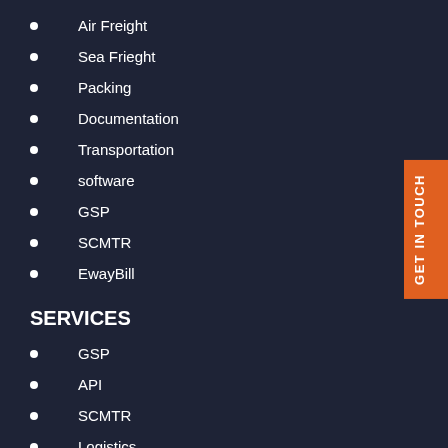Air Freight
Sea Frieght
Packing
Documentation
Transportation
software
GSP
SCMTR
EwayBill
SERVICES
GSP
API
SCMTR
Logistics
EwayBill